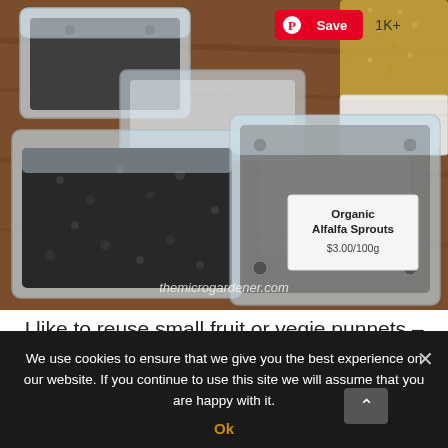[Figure (photo): Photo of clear plastic fruit/vegetable punnets on a wooden surface. One punnet contains dark soil or seeds, another is empty, and a third has a label reading 'Organic Alfalfa Sprouts $3.00/100g'. Golden seeds visible in the background. A Pinterest 'Save 1K+' button overlay appears in the top right. Watermark 'themicrogardener.com' at the bottom of the photo.]
I like to reuse small fruit or vegie punnets – they are perfect mini greenhouses for growing
We use cookies to ensure that we give you the best experience on our website. If you continue to use this site we will assume that you are happy with it.
Ok